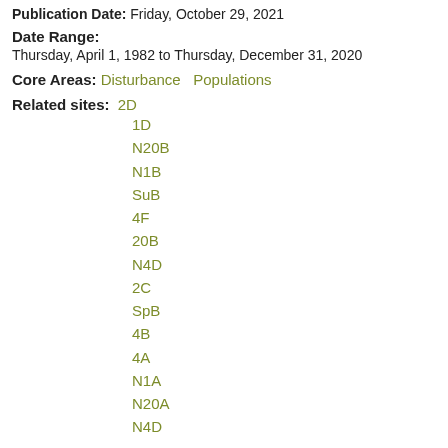Publication Date: Friday, October 29, 2021
Date Range:
Thursday, April 1, 1982 to Thursday, December 31, 2020
Core Areas: Disturbance   Populations
Related sites: 2D
1D
N20B
N1B
SuB
4F
20B
N4D
2C
SpB
4B
4A
N1A
N20A
N4D